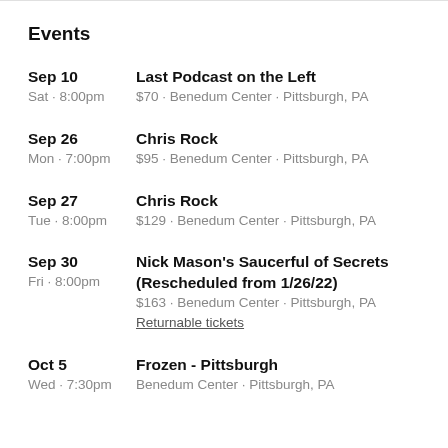Events
Sep 10 | Sat · 8:00pm | Last Podcast on the Left | $70 · Benedum Center · Pittsburgh, PA
Sep 26 | Mon · 7:00pm | Chris Rock | $95 · Benedum Center · Pittsburgh, PA
Sep 27 | Tue · 8:00pm | Chris Rock | $129 · Benedum Center · Pittsburgh, PA
Sep 30 | Fri · 8:00pm | Nick Mason's Saucerful of Secrets (Rescheduled from 1/26/22) | $163 · Benedum Center · Pittsburgh, PA | Returnable tickets
Oct 5 | Wed · 7:30pm | Frozen - Pittsburgh | Benedum Center · Pittsburgh, PA